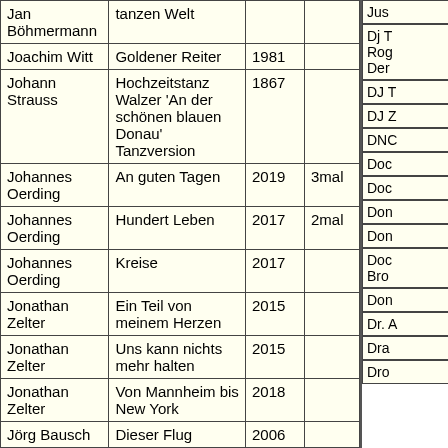| Artist | Song | Year | Count |
| --- | --- | --- | --- |
| Jan Böhmermann | tanzen Welt |  |  |
| Joachim Witt | Goldener Reiter | 1981 |  |
| Johann Strauss | Hochzeitstanz Walzer 'An der schönen blauen Donau' Tanzversion | 1867 |  |
| Johannes Oerding | An guten Tagen | 2019 | 3mal |
| Johannes Oerding | Hundert Leben | 2017 | 2mal |
| Johannes Oerding | Kreise | 2017 |  |
| Jonathan Zelter | Ein Teil von meinem Herzen | 2015 |  |
| Jonathan Zelter | Uns kann nichts mehr halten | 2015 |  |
| Jonathan Zelter | Von Mannheim bis New York | 2018 |  |
| Jörg Bausch | Dieser Flug | 2006 |  |
| Jörg Bausch | Grosses Kino | 2008 |  |
| Joris | Herz über Kopf | 2015 |  |
| Juju feat. Henning May | Vermissen | 2019 |  |
| Juli | Perfekte Welle | 2004 |  |
| Artist (partial) |
| --- |
| Jus |
| Dj T | Rog | Der |
| DJ T |
| DJ Z |
| DNC |
| Doc |
| Doc |
| Don |
| Don |
| Doc | Bro |
| Don |
| Dr. A |
| Dra |
| Dro |